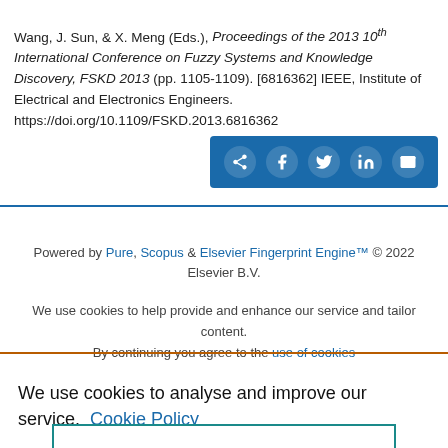Wang, J. Sun, & X. Meng (Eds.), Proceedings of the 2013 10th International Conference on Fuzzy Systems and Knowledge Discovery, FSKD 2013 (pp. 1105-1109). [6816362] IEEE, Institute of Electrical and Electronics Engineers. https://doi.org/10.1109/FSKD.2013.6816362
[Figure (other): Social sharing button bar with icons for share, Facebook, Twitter, LinkedIn, and email on a blue background]
Powered by Pure, Scopus & Elsevier Fingerprint Engine™ © 2022 Elsevier B.V.
We use cookies to help provide and enhance our service and tailor content. By continuing you agree to the use of cookies
We use cookies to analyse and improve our service. Cookie Policy